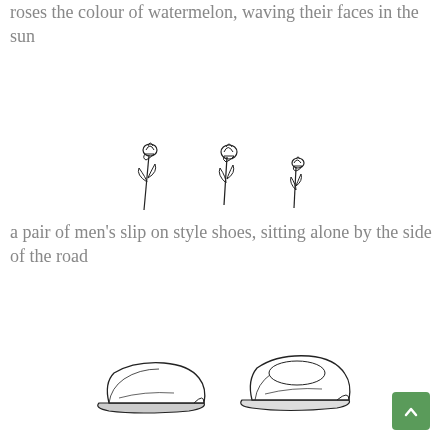roses the colour of watermelon, waving their faces in the sun
[Figure (illustration): Three hand-drawn rose illustrations of varying sizes arranged in a row]
a pair of men’s slip on style shoes, sitting alone by the side of the road
[Figure (illustration): Two hand-drawn slip-on style shoes side by side]